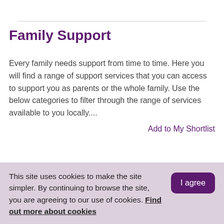Family Support
Every family needs support from time to time. Here you will find a range of support services that you can access to support you as parents or the whole family. Use the below categories to filter through the range of services available to you locally....
Add to My Shortlist
Family Swim
Please arrive to the venue with your swimwear on, ready to
This site uses cookies to make the site simpler. By continuing to browse the site, you are agreeing to our use of cookies. Find out more about cookies